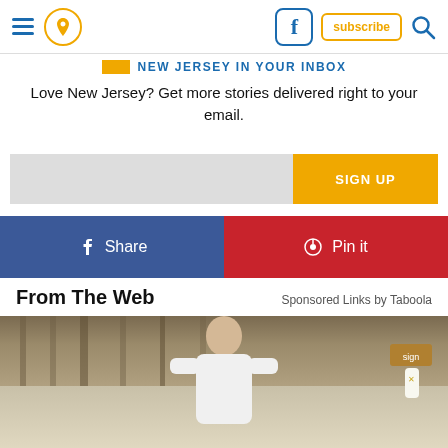Navigation bar with hamburger menu, location icon, Facebook icon, subscribe button, search icon
NEW JERSEY IN YOUR INBOX
Love New Jersey? Get more stories delivered right to your email.
SIGN UP
f Share
Pin it
From The Web
Sponsored Links by Taboola
[Figure (photo): Man in white shirt standing outdoors near stone architecture]